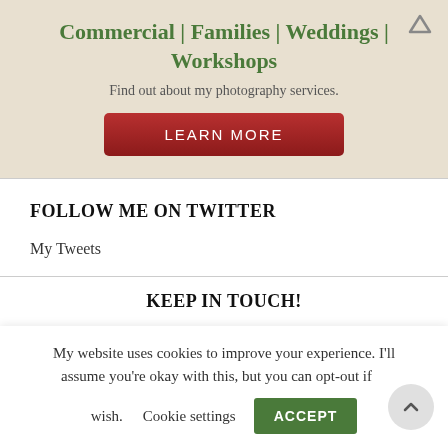Commercial | Families | Weddings | Workshops
Find out about my photography services.
LEARN MORE
FOLLOW ME ON TWITTER
My Tweets
KEEP IN TOUCH!
My website uses cookies to improve your experience. I'll assume you're okay with this, but you can opt-out if you wish.
Cookie settings
ACCEPT